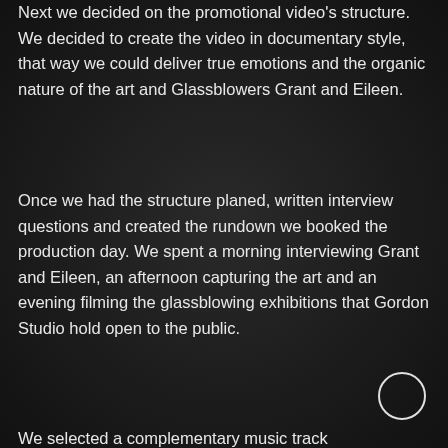Next we decided on the promotional video's structure. We decided to create the video in documentary style, that way we could deliver true emotions and the organic nature of the art and Glassblowers Grant and Eileen.
Once we had the structure planed, written interview questions and created the rundown we booked the production day. We spent a morning interviewing Grant and Eileen, an afternoon capturing the art and an evening filming the glassblowing exhibitions that Gordon Studio hold open to the public.
We selected a complementary music track